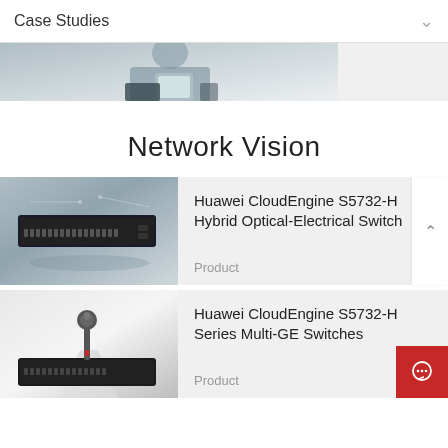Case Studies
[Figure (photo): Partial hero image showing a person in a suit using a tablet device, cropped at the top]
Network Vision
[Figure (photo): Huawei CloudEngine S5732-H network switch product photo on grey gradient background]
Huawei CloudEngine S5732-H Hybrid Optical-Electrical Switch
Product
[Figure (photo): Huawei CloudEngine S5732-H series multi-GE switch product photo with antenna/probe accessory on light background]
Huawei CloudEngine S5732-H Series Multi-GE Switches
Product